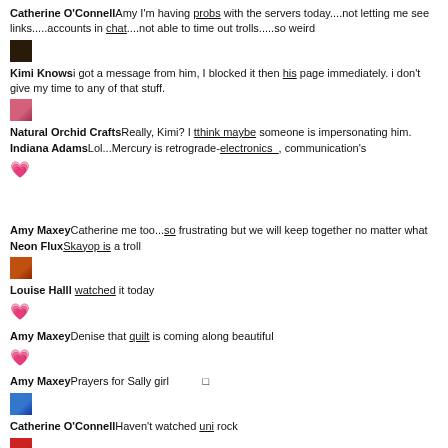Catherine O'ConnellAmy I'm having probs with the servers today....not letting me see links.....accounts in chat....not able to time out trolls.....so weird
[Figure (photo): Small dark avatar image]
Kimi Knowsi got a message from him, I blocked it then his page immediately. i don't give my time to any of that stuff.
[Figure (photo): Small pink/red avatar image]
Natural Orchid CraftsReally, Kimi? I tthink maybe someone is impersonating him.
Indiana AdamsLol...Mercury is retrograde-electronics_, communication's
[Figure (photo): Small pink heart emoji avatar]
Amy MaxeyCatherine me too...so frustrating but we will keep together no matter what
Neon FluxSkayop is a troll
[Figure (photo): Small orange avatar image]
Louise Halll watched it today
[Figure (photo): Small pink heart emoji]
Amy MaxeyDenise that quilt is coming along beautiful
[Figure (photo): Small pink heart emoji]
Amy MaxeyPrayers for Sally girl
[Figure (photo): Small blue avatar image]
Catherine O'ConnellHaven't watched uni rock
[Figure (photo): Small red lips avatar]
Neon FluxOh wow Denisell!
[Figure (photo): Small red lips avatar]
Neon FluxOMGIIIII
[Figure (photo): Small orange avatar image]
Louise Hallit's so strange isn't it
[Figure (photo): Small red lips avatar]
Neon FluxThat's crazyllll